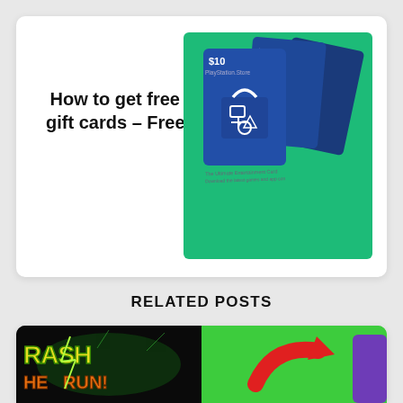NEXT POST
How to get free PlayStation gift cards – Free PSN Codes
[Figure (photo): PlayStation Store gift cards ($10, $25, $50) fanned out on a teal/green background]
RELATED POSTS
[Figure (photo): Two related post thumbnails side by side: left shows Crash On The Run game logo on black background, right shows a red arrow icon on green background]